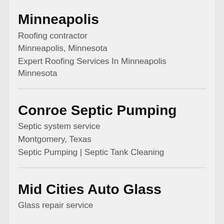Minneapolis
Roofing contractor
Minneapolis, Minnesota
Expert Roofing Services In Minneapolis Minnesota
Conroe Septic Pumping
Septic system service
Montgomery, Texas
Septic Pumping | Septic Tank Cleaning
Mid Cities Auto Glass
Glass repair service